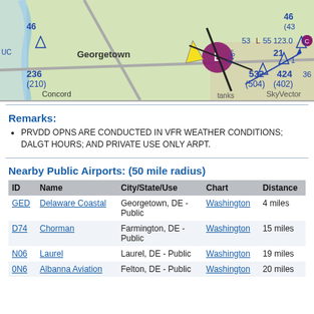[Figure (map): Aeronautical sectional chart showing Delaware Coastal (GED) airport near Georgetown, DE. Shows ASOS frequency 118.375, altitude figures 236(210), 532(504), 424(402), and SkyVector watermark.]
Remarks:
PRVDD OPNS ARE CONDUCTED IN VFR WEATHER CONDITIONS; DALGT HOURS; AND PRIVATE USE ONLY ARPT.
Nearby Public Airports: (50 mile radius)
| ID | Name | City/State/Use | Chart | Distance |
| --- | --- | --- | --- | --- |
| GED | Delaware Coastal | Georgetown, DE - Public | Washington | 4 miles |
| D74 | Chorman | Farmington, DE - Public | Washington | 15 miles |
| N06 | Laurel | Laurel, DE - Public | Washington | 19 miles |
| 0N6 | Albanna Aviation | Felton, DE - Public | Washington | 20 miles |